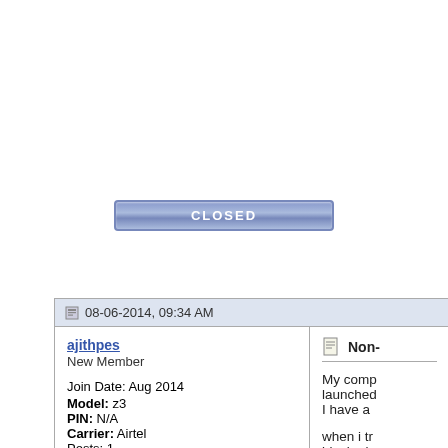[Figure (other): A blue button labeled CLOSED]
08-06-2014, 09:34 AM
ajithpes
New Member

Join Date: Aug 2014
Model: z3
PIN: N/A
Carrier: Airtel
Posts: 1

Offline
Non-

My comp launched I have a

when i tr blocked

Can you company